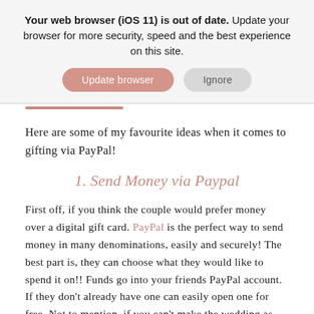Your web browser (iOS 11) is out of date. Update your browser for more security, speed and the best experience on this site.
Here are some of my favourite ideas when it comes to gifting via PayPal!
1. Send Money via Paypal
First off, if you think the couple would prefer money over a digital gift card. PayPal is the perfect way to send money in many denominations, easily and securely! The best part is, they can choose what they would like to spend it on!! Funds go into your friends PayPal account. If they don't already have one can easily open one for free. Not to mention, if you can't make the wedding as your